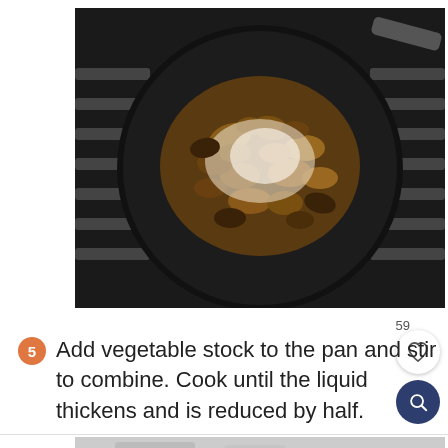[Figure (photo): Overhead view of a black skillet on a gas stove burner, filled with sautéed mushrooms and a dusting of flour or cheese, viewed from above. Stove grates visible on sides.]
59
5  Add vegetable stock to the pan and stir to combine. Cook until the liquid thickens and is reduced by half.
[Figure (photo): Bottom portion of another food photo, partially visible, showing light grey/white background with some food content.]